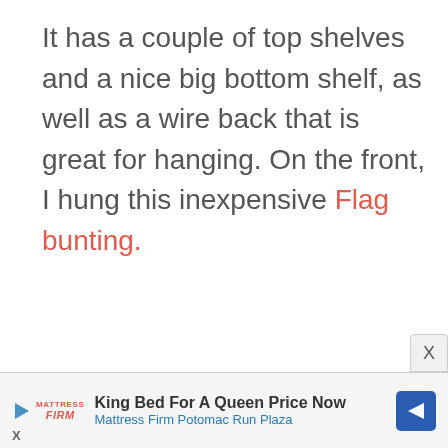It has a couple of top shelves and a nice big bottom shelf, as well as a wire back that is great for hanging. On the front, I hung this inexpensive Flag bunting.
King Bed For A Queen Price Now | Mattress Firm Potomac Run Plaza